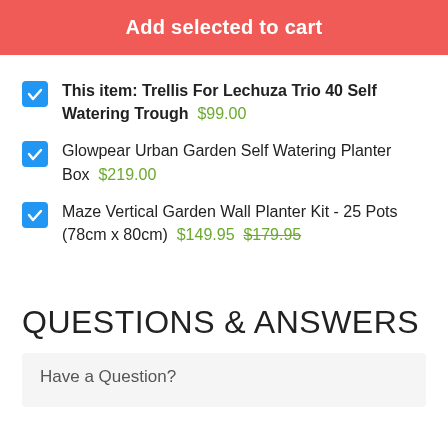Add selected to cart
This item: Trellis For Lechuza Trio 40 Self Watering Trough  $99.00
Glowpear Urban Garden Self Watering Planter Box  $219.00
Maze Vertical Garden Wall Planter Kit - 25 Pots (78cm x 80cm)  $149.95  $179.95
QUESTIONS & ANSWERS
Have a Question?